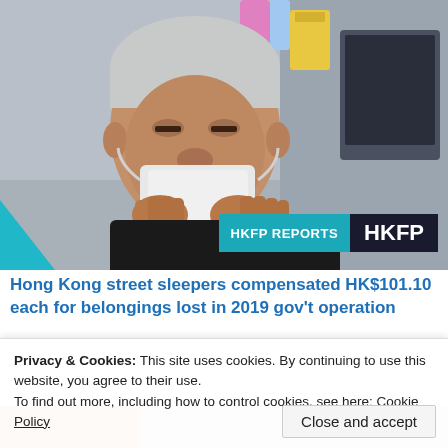[Figure (photo): Elderly man with white hair pulling a face mask up over his mouth and nose in a store. HKFP REPORTS badge overlaid in bottom right.]
Hong Kong street sleepers compensated HK$101.10 each for belongings lost in 2019 gov't operation
Privacy & Cookies: This site uses cookies. By continuing to use this website, you agree to their use.
To find out more, including how to control cookies, see here: Cookie Policy
Close and accept
[Figure (photo): Partial view of a second article image at bottom of page, showing people in orange.]